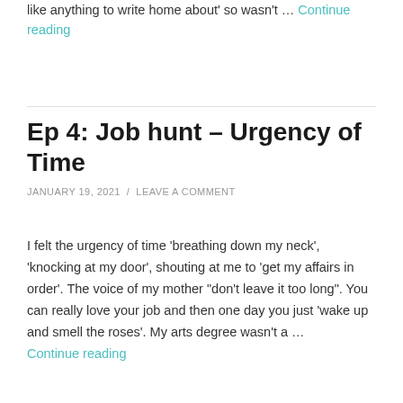like anything to write home about' so wasn't … Continue reading
Ep 4: Job hunt – Urgency of Time
JANUARY 19, 2021 / LEAVE A COMMENT
I felt the urgency of time 'breathing down my neck', 'knocking at my door', shouting at me to 'get my affairs in order'. The voice of my mother "don't leave it too long". You can really love your job and then one day you just 'wake up and smell the roses'. My arts degree wasn't a … Continue reading